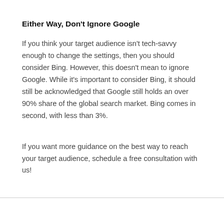Either Way, Don't Ignore Google
If you think your target audience isn't tech-savvy enough to change the settings, then you should consider Bing. However, this doesn't mean to ignore Google. While it's important to consider Bing, it should still be acknowledged that Google still holds an over 90% share of the global search market. Bing comes in second, with less than 3%.
If you want more guidance on the best way to reach your target audience, schedule a free consultation with us!